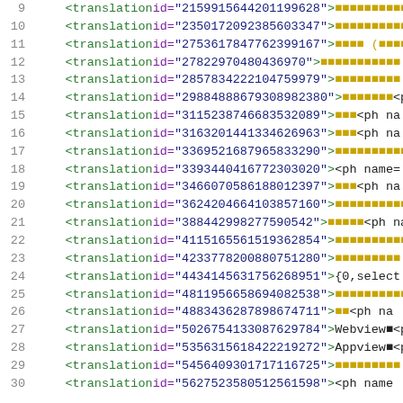Code listing showing XML translation elements with id attributes, lines 9-30